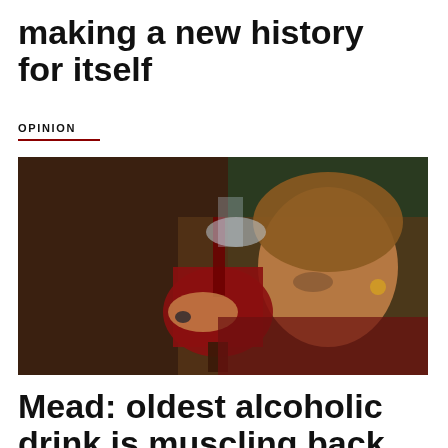making a new history for itself
OPINION
[Figure (photo): A man holding a large goblet/chalice with red wine being poured into it from above, wearing medieval-style costume with a ring on his finger, in a dark indoor setting]
Mead: oldest alcoholic drink is muscling back